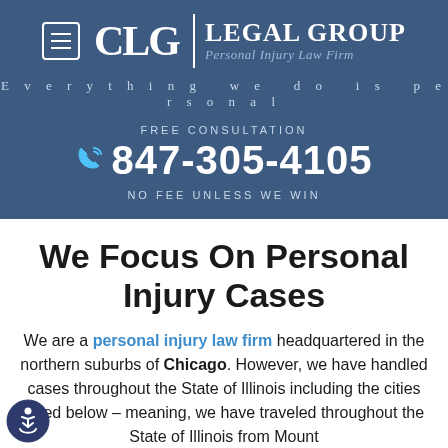CLG LEGAL GROUP | Personal Injury Law Firm | Everything we do is personal
FREE CONSULTATION
☎ 847-305-4105
NO FEE UNLESS WE WIN
We Focus On Personal Injury Cases
We are a personal injury law firm headquartered in the northern suburbs of Chicago. However, we have handled cases throughout the State of Illinois including the cities listed below – meaning, we have traveled throughout the State of Illinois from Mount